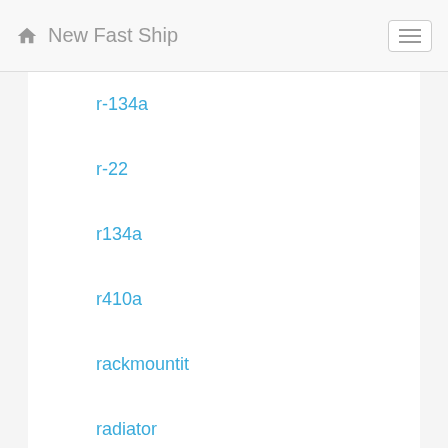New Fast Ship
r-134a
r-22
r134a
r410a
rackmountit
radiator
rake
ranger
raptor